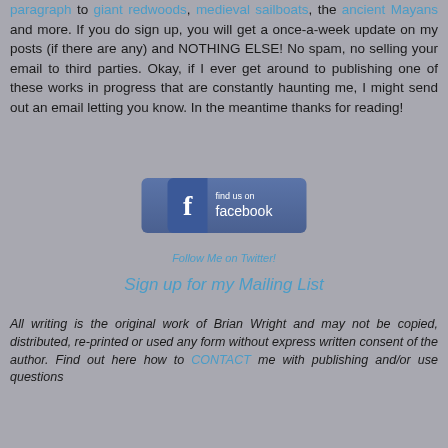paragraph to giant redwoods, medieval sailboats, the ancient Mayans and more. If you do sign up, you will get a once-a-week update on my posts (if there are any) and NOTHING ELSE! No spam, no selling your email to third parties. Okay, if I ever get around to publishing one of these works in progress that are constantly haunting me, I might send out an email letting you know. In the meantime thanks for reading!
[Figure (other): Find us on Facebook button with Facebook 'f' logo icon on the left and 'find us on facebook' text on the right]
Follow Me on Twitter!
Sign up for my Mailing List
All writing is the original work of Brian Wright and may not be copied, distributed, re-printed or used any form without express written consent of the author. Find out here how to CONTACT me with publishing and/or use questions